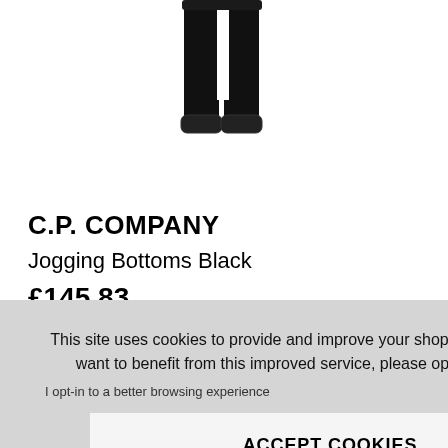[Figure (photo): Black jogging bottoms / sweatpants product photo on white background, showing lower legs and ankles with ribbed cuffs]
C.P. COMPANY
Jogging Bottoms Black
£145.83
This site uses cookies to provide and improve your shopping experience. If you want to benefit from this improved service, please opt-in. Cookies Page.

I opt-in to a better browsing experience

ACCEPT COOKIES